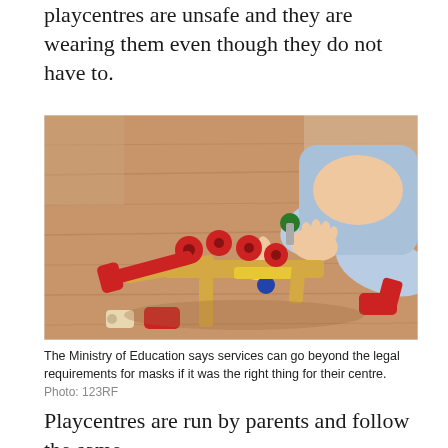playcentres are unsafe and they are wearing them even though they do not have to.
[Figure (photo): A young child sitting on a wooden floor playing with colorful red, blue, green and yellow wooden construction toy pieces and blocks]
The Ministry of Education says services can go beyond the legal requirements for masks if it was the right thing for their centre.
Photo: 123RF
Playcentres are run by parents and follow the same